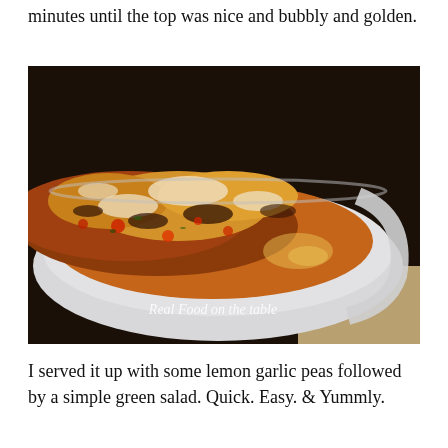minutes until the top was nice and bubbly and golden.
[Figure (photo): A baked casserole dish with bubbly golden-brown cheesy top, tomatoes and vegetables visible beneath, in a white oval baking dish on a counter. Watermark reads 'Real Food on the table'.]
I served it up with some lemon garlic peas followed by a simple green salad. Quick. Easy. & Yummly.